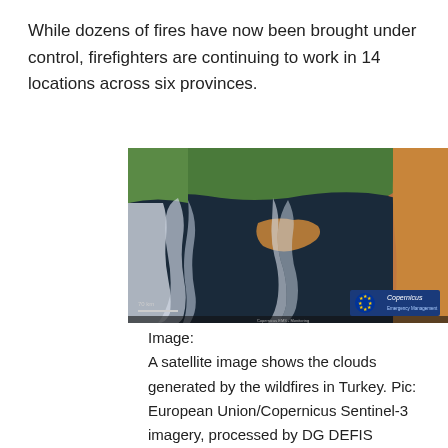While dozens of fires have now been brought under control, firefighters are continuing to work in 14 locations across six provinces.
[Figure (photo): Satellite image showing smoke clouds generated by wildfires in Turkey, with Cyprus visible in the center. The dark Mediterranean Sea surrounds the landmasses. A Copernicus logo with EU flag appears in the bottom right corner.]
Image:
A satellite image shows the clouds generated by the wildfires in Turkey. Pic: European Union/Copernicus Sentinel-3 imagery, processed by DG DEFIS